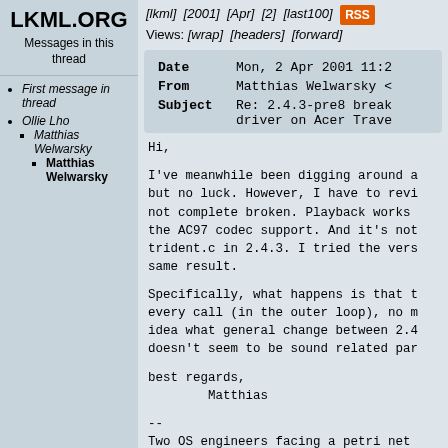LKML.ORG
Messages in this thread
[lkml] [2001] [Apr] [2] [last100] RSS Views: [wrap] [headers] [forward]
First message in thread
Ollie Lho
Matthias Welwarsky
Matthias Welwarsky (current)
| Field | Value |
| --- | --- |
| Date | Mon, 2 Apr 2001 11:2 |
| From | Matthias Welwarsky < |
| Subject | Re: 2.4.3-pre8 break driver on Acer Trave |
Hi,

I've meanwhile been digging around a but no luck. However, I have to revi not complete broken. Playback works the AC97 codec support. And it's not trident.c in 2.4.3. I tried the vers same result.

Specifically, what happens is that t every call (in the outer loop), no m idea what general change between 2.4 doesn't seem to be sound related par

best regards,
        Matthias

--
Two OS engineers facing a petri net